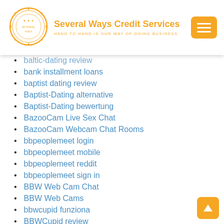Several Ways Credit Services — HAND TO HAND IS OUR WAY OF DOING BUSINESS
baltic-dating review
bank installment loans
baptist dating review
Baptist-Dating alternative
Baptist-Dating bewertung
BazooCam Live Sex Chat
BazooCam Webcam Chat Rooms
bbpeoplemeet login
bbpeoplemeet mobile
bbpeoplemeet reddit
bbpeoplemeet sign in
BBW Web Cam Chat
BBW Web Cams
bbwcupid funziona
BBWCupid review
BBWCupid username
bbwdatefinder inscription
BBWDateFinder review
BBWDateFinder visitors
bbwdesire mobile